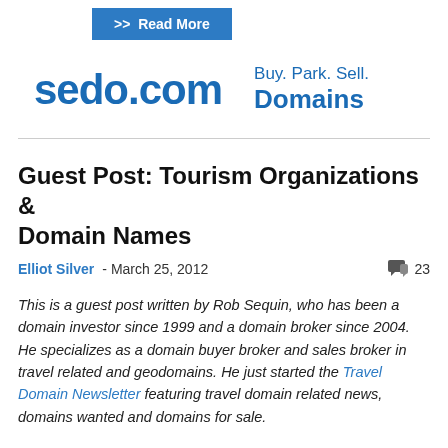[Figure (other): Read More button — blue rectangle with white text '>> Read More']
[Figure (logo): sedo.com advertisement banner with logo text 'sedo.com' in blue on left and tagline 'Buy. Park. Sell. Domains' on right in blue]
Guest Post: Tourism Organizations & Domain Names
Elliot Silver - March 25, 2012   23
This is a guest post written by Rob Sequin, who has been a domain investor since 1999 and a domain broker since 2004. He specializes as a domain buyer broker and sales broker in travel related and geodomains. He just started the Travel Domain Newsletter featuring travel domain related news, domains wanted and domains for sale.